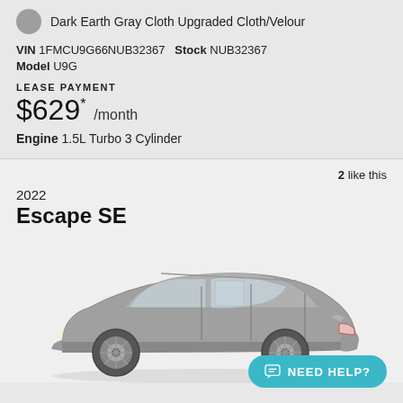Dark Earth Gray Cloth Upgraded Cloth/Velour
VIN 1FMCU9G66NUB32367   Stock NUB32367   Model U9G
LEASE PAYMENT
$629* /month
Engine 1.5L Turbo 3 Cylinder
2 like this
2022
Escape SE
[Figure (photo): Silver 2022 Ford Escape SE SUV shown from the side profile on a light gray background]
NEED HELP?